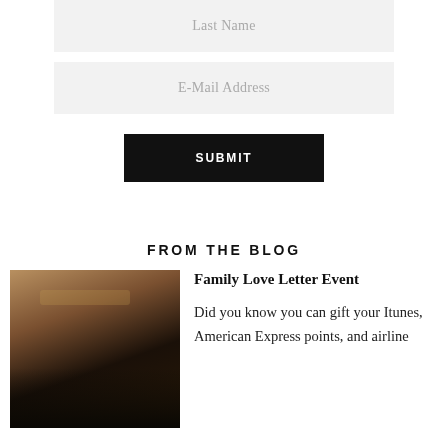Last Name
E-Mail Address
SUBMIT
FROM THE BLOG
[Figure (photo): A catered food table with various dishes, greenery decorations, and a dark tablecloth, photographed at an event.]
Family Love Letter Event
Did you know you can gift your Itunes, American Express points, and airline